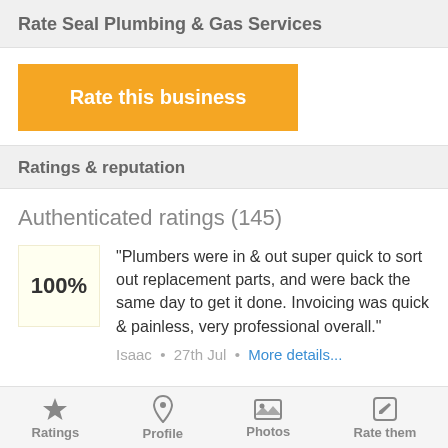Rate Seal Plumbing & Gas Services
Rate this business
Ratings & reputation
Authenticated ratings (145)
"Plumbers were in & out super quick to sort out replacement parts, and were back the same day to get it done. Invoicing was quick & painless, very professional overall."
Isaac • 27th Jul • More details...
Ratings  Profile  Photos  Rate them